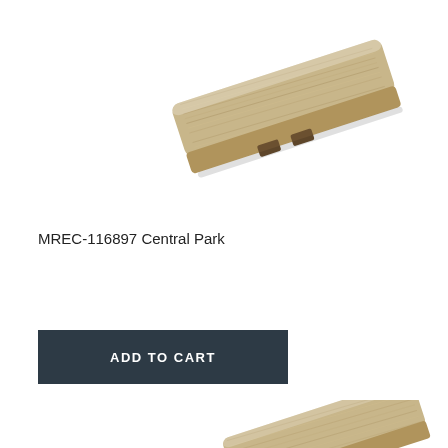[Figure (photo): A single wood flooring reducer/T-molding strip piece shown at an angle, with light tan/beige wood grain texture, tapered profile with a groove on the underside]
MREC-116897 Central Park
[Figure (other): Dark teal/navy button labeled ADD TO CART]
[Figure (photo): Partial view of a second wood flooring reducer/T-molding strip at bottom of page, similar light tan/beige wood grain texture]